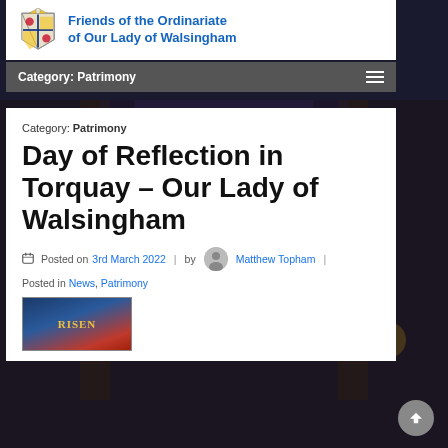Friends of the Ordinariate of Our Lady of Walsingham
Category: Patrimony
Category: Patrimony
Day of Reflection in Torquay – Our Lady of Walsingham
Posted on 3rd March 2022 | by Matthew Topham |
Posted in News, Patrimony
[Figure (photo): Thumbnail image showing RISEN text over a dark blue and red background]